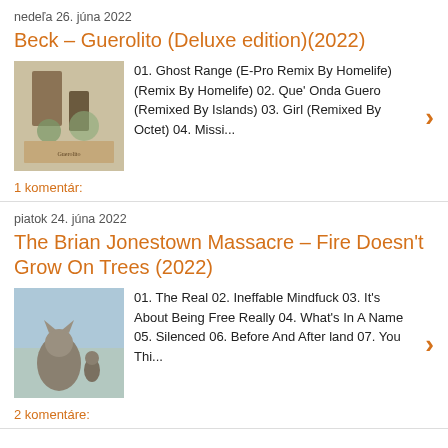nedeľa 26. júna 2022
Beck – Guerolito (Deluxe edition)(2022)
[Figure (photo): Album cover for Beck – Guerolito (Deluxe edition)]
01. Ghost Range (E-Pro Remix By Homelife) (Remix By Homelife) 02. Que' Onda Guero (Remixed By Islands) 03. Girl (Remixed By Octet) 04. Missi...
1 komentár:
piatok 24. júna 2022
The Brian Jonestown Massacre – Fire Doesn't Grow On Trees (2022)
[Figure (photo): Album cover for The Brian Jonestown Massacre – Fire Doesn't Grow On Trees (2022)]
01. The Real 02. Ineffable Mindfuck 03. It's About Being Free Really 04. What's In A Name 05. Silenced 06. Before And After land 07. You Thi...
2 komentáre: